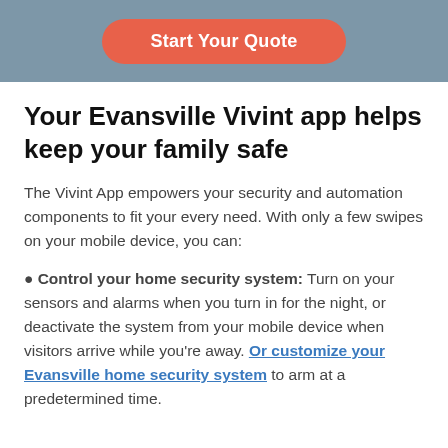[Figure (other): Header band with coral/salmon rounded rectangle button labeled 'Start Your Quote' on a steel-blue background]
Your Evansville Vivint app helps keep your family safe
The Vivint App empowers your security and automation components to fit your every need. With only a few swipes on your mobile device, you can:
Control your home security system: Turn on your sensors and alarms when you turn in for the night, or deactivate the system from your mobile device when visitors arrive while you're away. Or customize your Evansville home security system to arm at a predetermined time.